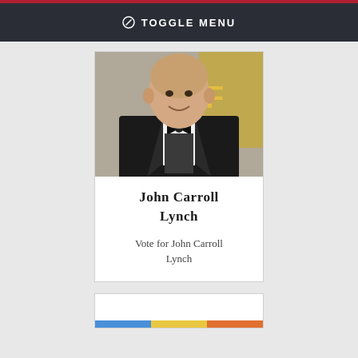⊘ TOGGLE MENU
[Figure (photo): Photo of John Carroll Lynch in a black tuxedo with bow tie at what appears to be an awards event, with a gold/yellow background element visible]
John Carroll Lynch
Vote for John Carroll Lynch
[Figure (photo): Partially visible second card at bottom of page with colored horizontal strips]